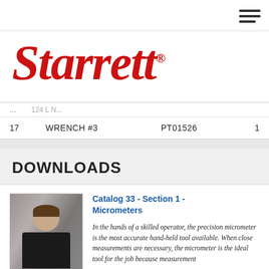[Figure (logo): Starrett company logo in red italic serif font with registered trademark symbol]
| # | DESCRIPTION | PART NO. | QTY |
| --- | --- | --- | --- |
| 17 | WRENCH #3 | PT01526 | 1 |
DOWNLOADS
[Figure (photo): Woman in black top using a precision micrometer, with catalog cover showing MICROMETERS label at bottom]
Catalog 33 - Section 1 - Micrometers
In the hands of a skilled operator, the precision micrometer is the most accurate hand-held tool available. When close measurements are necessary, the micrometer is the ideal tool for the job because measurement and reading are on the same axis and the anvil end is